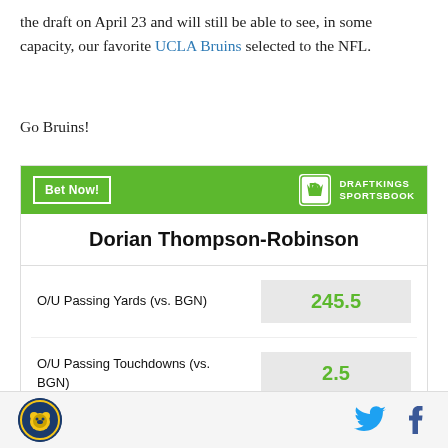the draft on April 23 and will still be able to see, in some capacity, our favorite UCLA Bruins selected to the NFL.
Go Bruins!
|  | Dorian Thompson-Robinson |  |
| --- | --- | --- |
| O/U Passing Yards (vs. BGN) | 245.5 |
| O/U Passing Touchdowns (vs. BGN) | 2.5 |
Bruins Nation logo | Twitter | Facebook